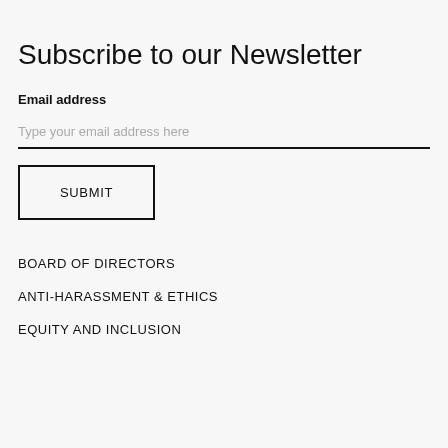Subscribe to our Newsletter
Email address
Type your email address here
SUBMIT
BOARD OF DIRECTORS
ANTI-HARASSMENT & ETHICS
EQUITY AND INCLUSION